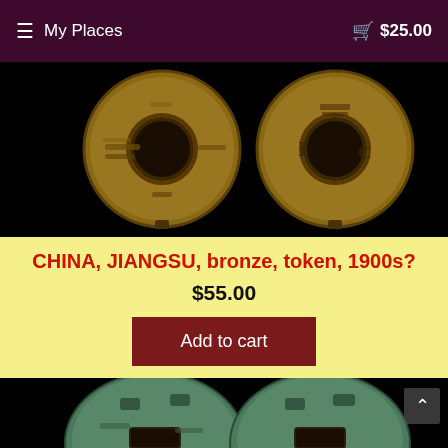≡ My Places   🛒 $25.00
[Figure (photo): Two bronze Chinese Jiangsu tokens from the 1900s shown side by side on black background, each with a square hole in the center]
CHINA, JIANGSU, bronze, token, 1900s?
$55.00
Add to cart
[Figure (photo): Two more views of the bronze Chinese tokens shown from below, partially cropped at bottom of page]